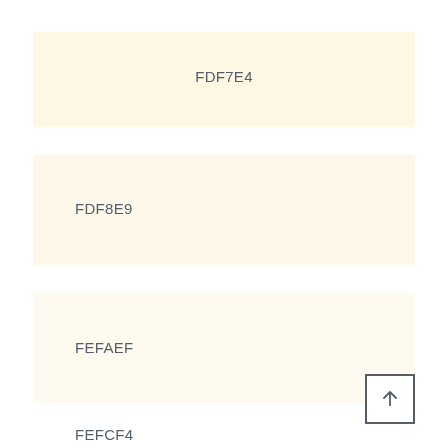[Figure (other): Color swatch for FDF7E4 — a warm very light cream/yellow color]
FDF7E4
[Figure (other): Color swatch for FDF8E9 — a slightly warmer light cream color]
FDF8E9
[Figure (other): Color swatch for FEFAEF — a very light warm white/cream color]
FEFAEF
FEFCF4
[Figure (other): Scroll-to-top button with upward arrow icon]